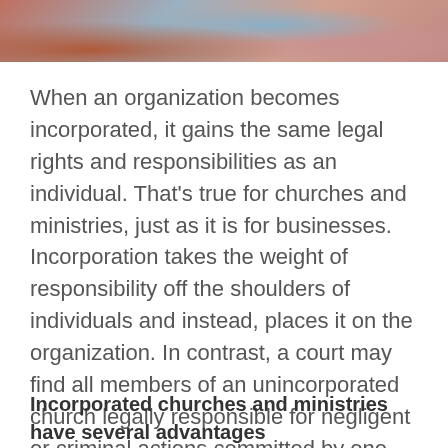[Figure (photo): Partial photo of people, cropped at the top of the page showing shoulders and heads with warm pink/orange and blue tones.]
When an organization becomes incorporated, it gains the same legal rights and responsibilities as an individual. That's true for churches and ministries, just as it is for businesses. Incorporation takes the weight of responsibility off the shoulders of individuals and instead, places it on the organization. In contrast, a court may find all members of an unincorporated church legally responsible for negligent or criminal actions committed by one church member.
Incorporated churches and ministries have several advantages